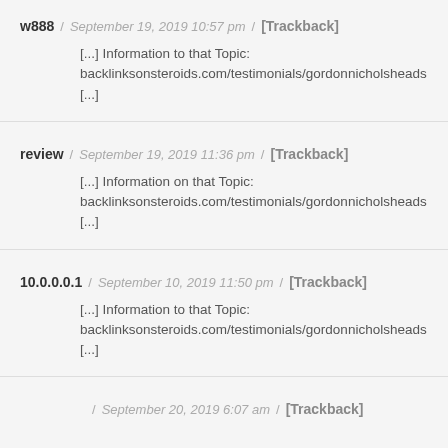w888 / September 19, 2019 10:57 pm / [Trackback]
[...] Information to that Topic: backlinksonsteroids.com/testimonials/gordonnicholsheads [...]
review / September 19, 2019 11:36 pm / [Trackback]
[...] Information on that Topic: backlinksonsteroids.com/testimonials/gordonnicholsheads [...]
10.0.0.0.1 / September 10, 2019 11:50 pm / [Trackback]
[...] Information to that Topic: backlinksonsteroids.com/testimonials/gordonnicholsheads [...]
/ September 20, 2019 6:07 am / [Trackback]